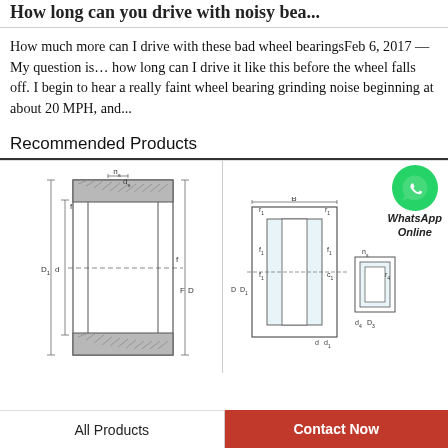How long can you drive with noisy bea...
How much more can I drive with these bad wheel bearingsFeb 6, 2017 — My question is… how long can I drive it like this before the wheel falls off. I begin to hear a really faint wheel bearing grinding noise beginning at about 20 MPH, and...
Recommended Products
[Figure (engineering-diagram): Technical cross-section schematic of a cylindrical roller bearing with labeled dimensions: ns, ds, f, D1, d, F, D, and other dimension labels.]
[Figure (engineering-diagram): Technical cross-section schematic of a bearing assembly with labeled dimensions: B, r1, r1, f1, f1, c1, D, D1, d, d1, and smaller detail view on right side with ns, r4 labels.]
WhatsApp Online
All Products
Contact Now